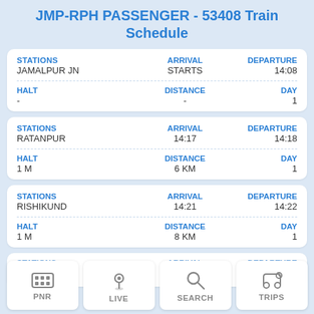JMP-RPH PASSENGER - 53408 Train Schedule
| STATIONS | ARRIVAL | DEPARTURE | HALT | DISTANCE | DAY |
| --- | --- | --- | --- | --- | --- |
| JAMALPUR JN | STARTS | 14:08 | - | - | 1 |
| RATANPUR | 14:17 | 14:18 | 1 M | 6 KM | 1 |
| RISHIKUND | 14:21 | 14:22 | 1 M | 8 KM | 1 |